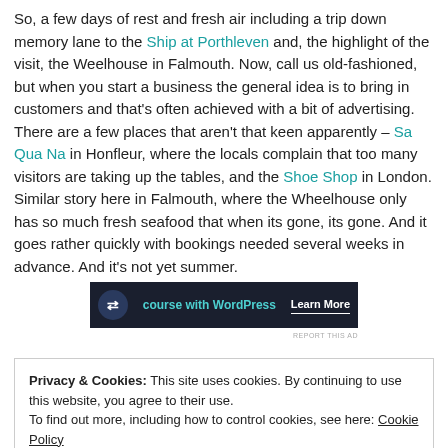So, a few days of rest and fresh air including a trip down memory lane to the Ship at Porthleven and, the highlight of the visit, the Weelhouse in Falmouth. Now, call us old-fashioned, but when you start a business the general idea is to bring in customers and that's often achieved with a bit of advertising. There are a few places that aren't that keen apparently – Sa Qua Na in Honfleur, where the locals complain that too many visitors are taking up the tables, and the Shoe Shop in London. Similar story here in Falmouth, where the Wheelhouse only has so much fresh seafood that when its gone, its gone. And it goes rather quickly with bookings needed several weeks in advance. And it's not yet summer.
[Figure (other): Advertisement banner with dark background showing 'course with WordPress' in teal text and 'Learn More' button]
Privacy & Cookies: This site uses cookies. By continuing to use this website, you agree to their use. To find out more, including how to control cookies, see here: Cookie Policy
Close and accept